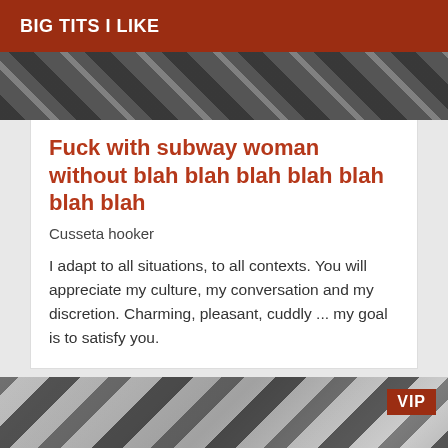BIG TITS I LIKE
[Figure (photo): Partial photo with graphic overlay patterns at top of card]
Fuck with subway woman without blah blah blah blah blah blah blah
Cusseta hooker
I adapt to all situations, to all contexts. You will appreciate my culture, my conversation and my discretion. Charming, pleasant, cuddly ... my goal is to satisfy you.
[Figure (photo): Photo of woman with graphic sign overlays saying ATTENTION VOLONTEER PHOTO ATTENTION, VIP badge in top right corner]